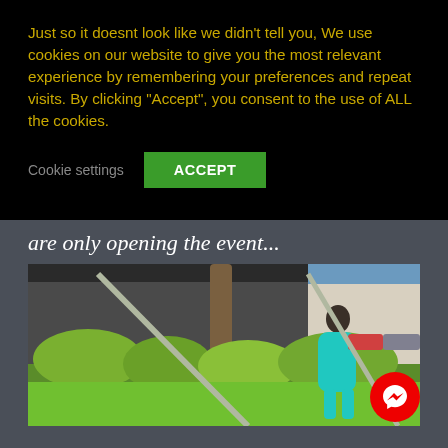Just so it doesnt look like we didn't tell you, We use cookies on our website to give you the most relevant experience by remembering your preferences and repeat visits. By clicking "Accept", you consent to the use of ALL the cookies.
Cookie settings  ACCEPT
are only opening the event...
[Figure (photo): A woman in a teal/turquoise dress leaning against a tree trunk in an outdoor setting with green shrubs and bushes in the background, buildings and parked cars visible behind, blue sky. A red circular Messenger chat icon is overlaid in the bottom right corner.]